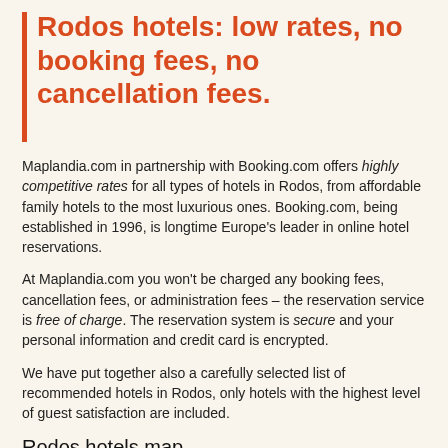Rodos hotels: low rates, no booking fees, no cancellation fees.
Maplandia.com in partnership with Booking.com offers highly competitive rates for all types of hotels in Rodos, from affordable family hotels to the most luxurious ones. Booking.com, being established in 1996, is longtime Europe's leader in online hotel reservations.
At Maplandia.com you won't be charged any booking fees, cancellation fees, or administration fees – the reservation service is free of charge. The reservation system is secure and your personal information and credit card is encrypted.
We have put together also a carefully selected list of recommended hotels in Rodos, only hotels with the highest level of guest satisfaction are included.
Rodos hotels map
The location of each Rodos hotel listed is shown on the detailed zoomable map. Moreover, Rodos hotel map is available in all the inkjet printers across the globe.